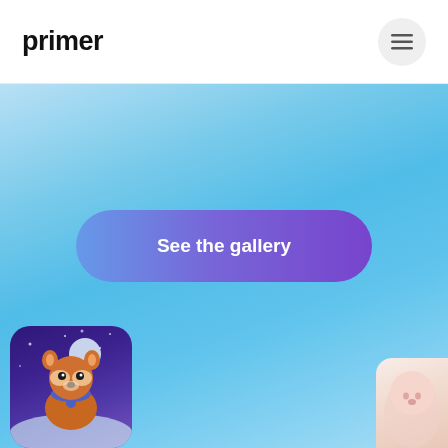primer
[Figure (screenshot): Navigation menu hamburger button — three horizontal lines in a circular grey button]
[Figure (screenshot): Blue gradient background section with a rounded pill button labeled 'See the gallery' with a blue-to-purple gradient]
See the gallery
[Figure (illustration): Illustrated card of a red panda wearing a scarf, standing in a snowy purple night scene with stars]
[Figure (illustration): Partially visible illustrated card showing a pink/white creature on a light peach background]